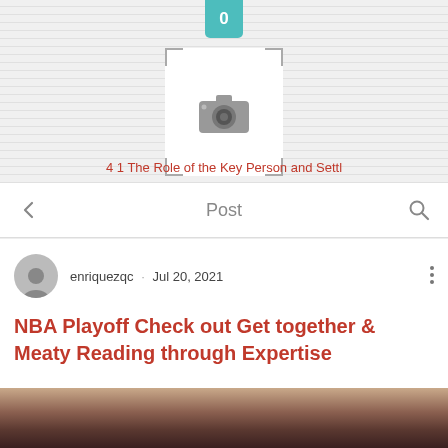[Figure (screenshot): App UI top section with striped background, teal badge showing '0', camera placeholder icon with bracket corners, and red link text '4 1 The Role of the Key Person and Settl']
4 1 The Role of the Key Person and Settl
[Figure (screenshot): Navigation bar with back arrow, 'Post' title, and search icon]
enriquezqc · Jul 20, 2021
NBA Playoff Check out Get together & Meaty Reading through Expertise
[Figure (photo): Blurred photo of a person's head/face, bottom portion visible]